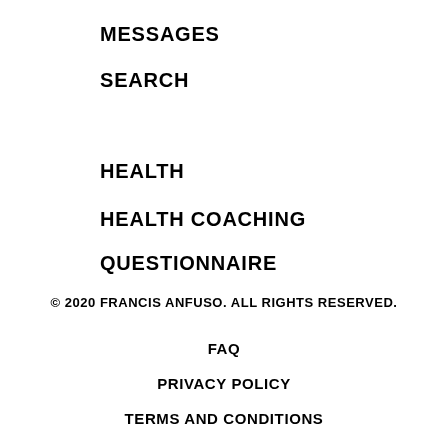MESSAGES
SEARCH
HEALTH
HEALTH COACHING
QUESTIONNAIRE
© 2020 FRANCIS ANFUSO. ALL RIGHTS RESERVED.
FAQ
PRIVACY POLICY
TERMS AND CONDITIONS